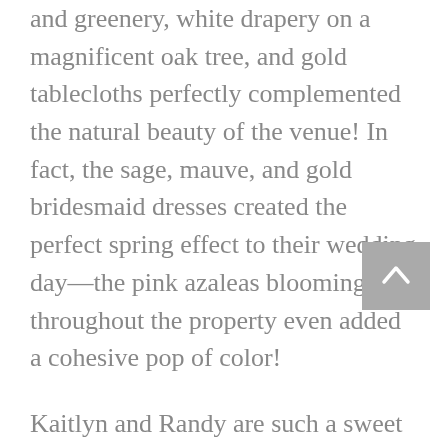and greenery, white drapery on a magnificent oak tree, and gold tablecloths perfectly complemented the natural beauty of the venue! In fact, the sage, mauve, and gold bridesmaid dresses created the perfect spring effect to their wedding day—the pink azaleas blooming throughout the property even added a cohesive pop of color!
Kaitlyn and Randy are such a sweet and fun couple with so much love for each other, which was incredibly apparent during their first look: Randy let out a loud whoop and clapped his hands when he saw his beautiful bride for the first time! They even incorporated their love for Mardi Gras in